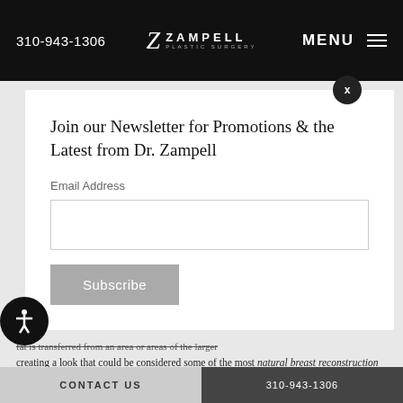310-943-1306   MENU
[Figure (logo): Zampell Plastic Surgery logo with stylized Z and text]
Join our Newsletter for Promotions & the Latest from Dr. Zampell
Email Address
Subscribe
creating a look that could be considered some of the most natural breast reconstruction Beverly Hills has to offer. Muscle tissue and function are spared in this procedure.
CONTACT US   310-943-1306